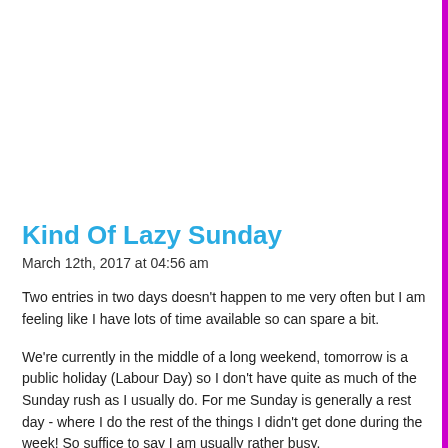Kind Of Lazy Sunday
March 12th, 2017 at 04:56 am
Two entries in two days doesn't happen to me very often but I am feeling like I have lots of time available so can spare a bit.
We're currently in the middle of a long weekend, tomorrow is a public holiday (Labour Day) so I don't have quite as much of the Sunday rush as I usually do. For me Sunday is generally a rest day - where I do the rest of the things I didn't get done during the week! So suffice to say I am usually rather busy.
We went away camping three weeks ago and will be going away next month at Easter so didn't want to have to put the cat in a boarding kennel